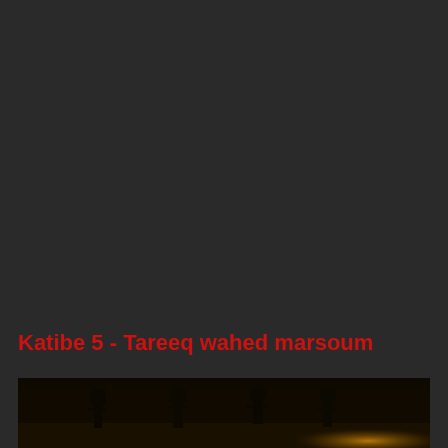Katibe 5 - Tareeq wahed marsoum
[Figure (photo): Dark scene showing silhouettes of figures against a low-light background with warm amber/golden tones at the bottom right, dark overall.]